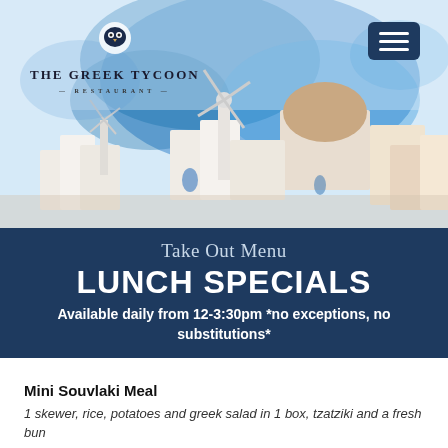[Figure (photo): Hero banner showing a watercolor-style illustration of Santorini, Greece with white buildings, windmills, and blue watercolor background. The Greek Tycoon Restaurant logo is in the upper left, and a hamburger menu button in the upper right.]
Take Out Menu
LUNCH SPECIALS
Available daily from 12-3:30pm *no exceptions, no substitutions*
Mini Souvlaki Meal
1 skewer, rice, potatoes and greek salad in 1 box, tzatziki and a fresh bun